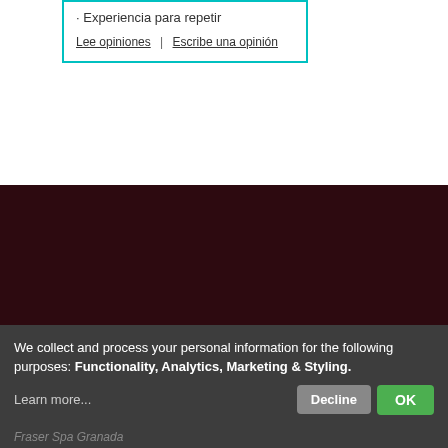Experiencia para repetir
Lee opiniones | Escribe una opinión
We collect and process your personal information for the following purposes: Functionality, Analytics, Marketing & Styling.
Learn more...
Fraser Spa Granada